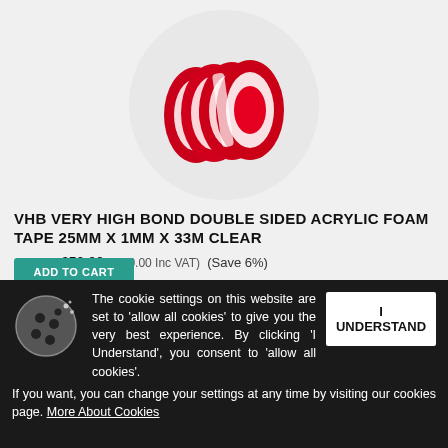[Figure (photo): Multiple rolls of red VHB double-sided acrylic foam tape stacked together, shown inside a circular frame on a light grey background.]
VHB VERY HIGH BOND DOUBLE SIDED ACRYLIC FOAM TAPE 25MM X 1MM X 33M CLEAR
£52.95 £50.00 (£60.00 Inc VAT) (Save 6%)
In Stock
ADD TO CART
The cookie settings on this website are set to 'allow all cookies' to give you the very best experience. By clicking 'I Understand', you consent to 'allow all cookies'. If you want, you can change your settings at any time by visiting our cookies page. More About Cookies